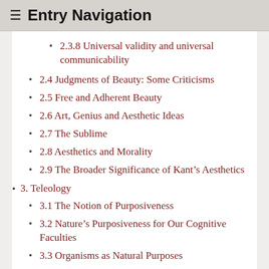≡ Entry Navigation
2.3.8 Universal validity and universal communicability
2.4 Judgments of Beauty: Some Criticisms
2.5 Free and Adherent Beauty
2.6 Art, Genius and Aesthetic Ideas
2.7 The Sublime
2.8 Aesthetics and Morality
2.9 The Broader Significance of Kant's Aesthetics
3. Teleology
3.1 The Notion of Purposiveness
3.2 Nature's Purposiveness for Our Cognitive Faculties
3.3 Organisms as Natural Purposes
3.4 Mechanism and Teleology
3.5 Nature as a System of Purposes